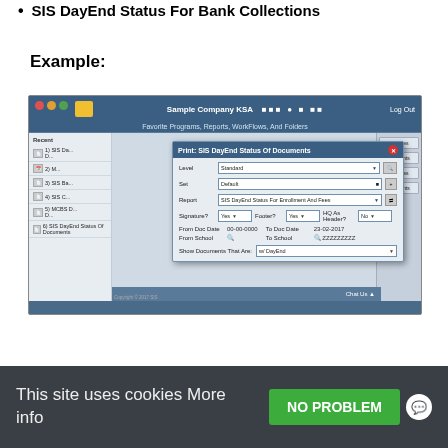SIS DayEnd Status For Bank Collections
Example:
[Figure (screenshot): Screenshot of a software application showing 'Print: SIS DayEnd Status Of Documents' dialog with fields for Level (Standard), Set (Default), Report (SIS DayEnd Status For Enrollment And Fees), Signature? (Yes), Footer? (Yes), HQ As Header? (No), From Doc Date (00-00-0000), To Doc Date (23-02-2017), From School, To School (ZZZZZZZZZ), Show Documents That Are (w/ DayEnd). Background shows the main application with Sample Company KSA header, Recent panel with items including SIS DayEnd Status Of Documents.]
This site uses cookies More info
NO PROBLEM